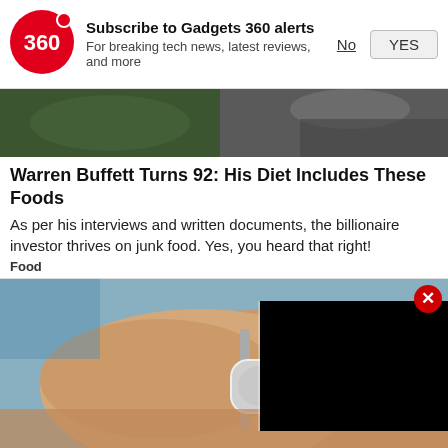[Figure (logo): Gadgets 360 red circle logo with '360' text in white]
Subscribe to Gadgets 360 alerts
For breaking tech news, latest reviews, and more
No   YES
[Figure (photo): Two people sitting at a table, partial view, dark background]
Warren Buffett Turns 92: His Diet Includes These Foods
As per his interviews and written documents, the billionaire investor thrives on junk food. Yes, you heard that right!
Food
[Figure (photo): Close-up of a hand wearing a smartwatch/wearable device with water/metal apparatus, with a black video overlay panel on the right]